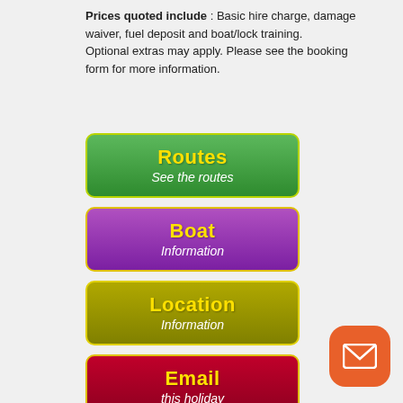Prices quoted include : Basic hire charge, damage waiver, fuel deposit and boat/lock training. Optional extras may apply. Please see the booking form for more information.
[Figure (infographic): Green button labeled Routes - See the routes]
[Figure (infographic): Purple button labeled Boat Information]
[Figure (infographic): Olive/yellow-green button labeled Location Information]
[Figure (infographic): Red button labeled Email this holiday]
[Figure (infographic): Blue button labeled Coronavirus book with confidence]
[Figure (illustration): Orange rounded square icon with white envelope symbol in bottom right corner]